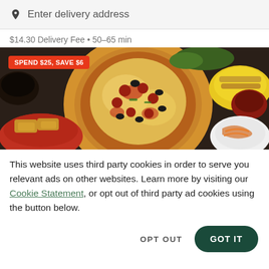Enter delivery address
$14.30 Delivery Fee • 50–65 min
[Figure (photo): Restaurant food photo showing pizza, wings, pasta, and other dishes with a red promotional badge reading SPEND $25, SAVE $6]
This website uses third party cookies in order to serve you relevant ads on other websites. Learn more by visiting our Cookie Statement, or opt out of third party ad cookies using the button below.
OPT OUT
GOT IT